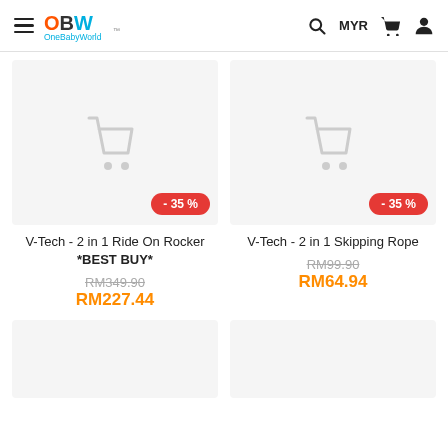OneBabyWorld — MYR
[Figure (screenshot): Product card: V-Tech - 2 in 1 Ride On Rocker *BEST BUY*, -35%, RM349.90 original, RM227.44 sale]
[Figure (screenshot): Product card: V-Tech - 2 in 1 Skipping Rope, -35%, RM99.90 original, RM64.94 sale]
V-Tech - 2 in 1 Ride On Rocker *BEST BUY*
RM349.90
RM227.44
V-Tech - 2 in 1 Skipping Rope
RM99.90
RM64.94